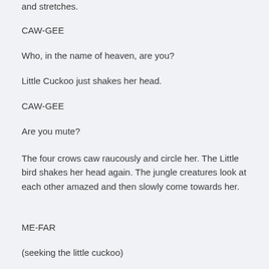and stretches.
CAW-GEE
Who, in the name of heaven, are you?
Little Cuckoo just shakes her head.
CAW-GEE
Are you mute?
The four crows caw raucously and circle her. The Little bird shakes her head again. The jungle creatures look at each other amazed and then slowly come towards her.
ME-FAR
(seeking the little cuckoo)